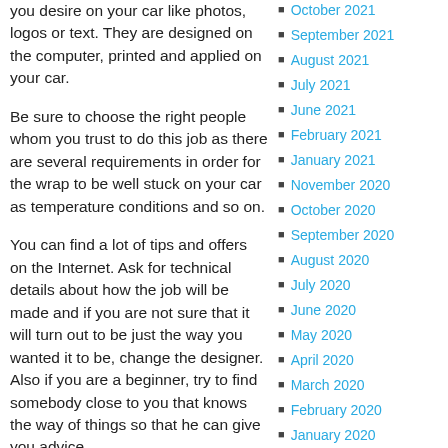you desire on your car like photos, logos or text. They are designed on the computer, printed and applied on your car.
Be sure to choose the right people whom you trust to do this job as there are several requirements in order for the wrap to be well stuck on your car as temperature conditions and so on.
You can find a lot of tips and offers on the Internet. Ask for technical details about how the job will be made and if you are not sure that it will turn out to be just the way you wanted it to be, change the designer. Also if you are a beginner, try to find somebody close to you that knows the way of things so that he can give you advice.
Also if you want a photo to be put on your
October 2021
September 2021
August 2021
July 2021
June 2021
February 2021
January 2021
November 2020
October 2020
September 2020
August 2020
July 2020
June 2020
May 2020
April 2020
March 2020
February 2020
January 2020
December 2019